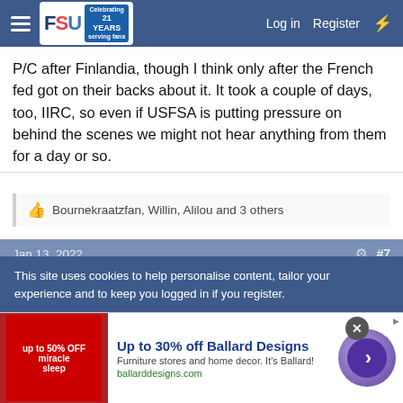FSU forum header with logo, Log in, Register navigation
P/C after Finlandia, though I think only after the French fed got on their backs about it. It took a couple of days, too, IIRC, so even if USFSA is putting pressure on behind the scenes we might not hear anything from them for a day or so.
👍 Bournekraatzfan, Willin, Alilou and 3 others
Jan 13, 2022  #7
Enchanted
Well-Known Member
This site uses cookies to help personalise content, tailor your experience and to keep you logged in if you register.
Up to 30% off Ballard Designs
Furniture stores and home decor. It's Ballard!
ballarddesigns.com